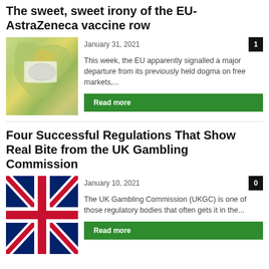The sweet, sweet irony of the EU-AstraZeneca vaccine row
January 31, 2021
[Figure (photo): Map of Europe with a face mask placed over it]
This week, the EU apparently signalled a major departure from its previously held dogma on free markets,...
Four Successful Regulations That Show Real Bite from the UK Gambling Commission
January 10, 2021
[Figure (photo): UK Union Jack flag close-up]
The UK Gambling Commission (UKGC) is one of those regulatory bodies that often gets it in the...